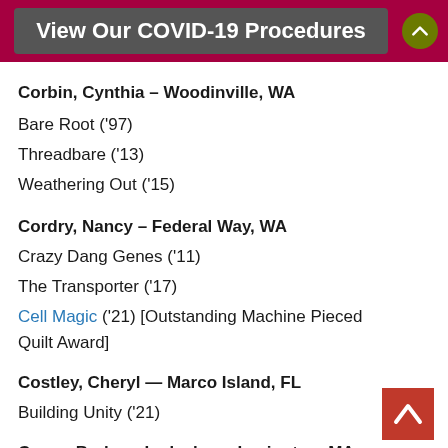View Our COVID-19 Procedures
Corbin, Cynthia – Woodinville, WA
Bare Root ('97)
Threadbare ('13)
Weathering Out ('15)
Cordry, Nancy – Federal Way, WA
Crazy Dang Genes ('11)
The Transporter ('17)
Cell Magic ('21) [Outstanding Machine Pieced Quilt Award]
Costley, Cheryl — Marco Island, FL
Building Unity ('21)
Crane, Barbara Lydecker – Lexington, MA